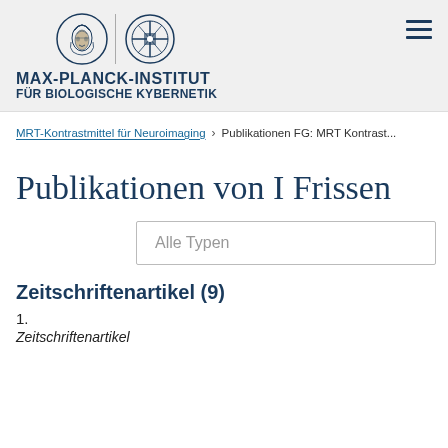[Figure (logo): Max-Planck-Institut für Biologische Kybernetik header with Minerva logo and MPI logo, plus institute name]
MRT-Kontrastmittel für Neuroimaging > Publikationen FG: MRT Kontrast...
Publikationen von I Frissen
Alle Typen
Zeitschriftenartikel (9)
1.
Zeitschriftenartikel